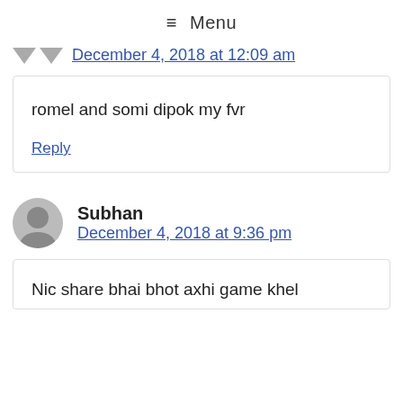≡ Menu
December 4, 2018 at 12:09 am
romel and somi dipok my fvr
Reply
Subhan
December 4, 2018 at 9:36 pm
Nic share bhai bhot axhi game khel